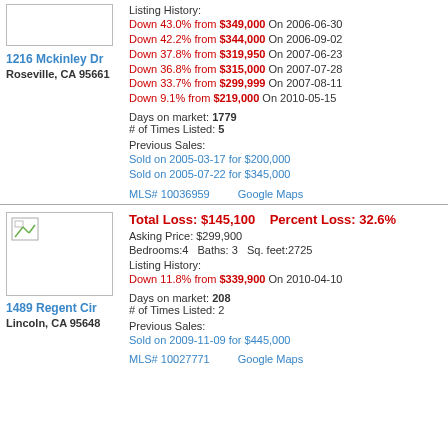[Figure (photo): Property photo placeholder (image not loaded), top section]
1216 Mckinley Dr
Roseville, CA 95661
Listing History:
Down 43.0% from $349,000 On 2006-06-30
Down 42.2% from $344,000 On 2006-09-02
Down 37.8% from $319,950 On 2007-06-23
Down 36.8% from $315,000 On 2007-07-28
Down 33.7% from $299,999 On 2007-08-11
Down 9.1% from $219,000 On 2010-05-15
Days on market: 1779
# of Times Listed: 5
Previous Sales:
Sold on 2005-03-17 for $200,000
Sold on 2005-07-22 for $345,000
MLS# 10036959    Google Maps
[Figure (photo): Property photo placeholder (image not loaded), bottom section]
Total Loss: $145,100    Percent Loss: 32.6%
Asking Price: $299,900
Bedrooms:4    Baths: 3    Sq. feet:2725
Listing History:
Down 11.8% from $339,900 On 2010-04-10
1489 Regent Cir
Lincoln, CA 95648
Days on market: 208
# of Times Listed: 2
Previous Sales:
Sold on 2009-11-09 for $445,000
MLS# 10027771    Google Maps